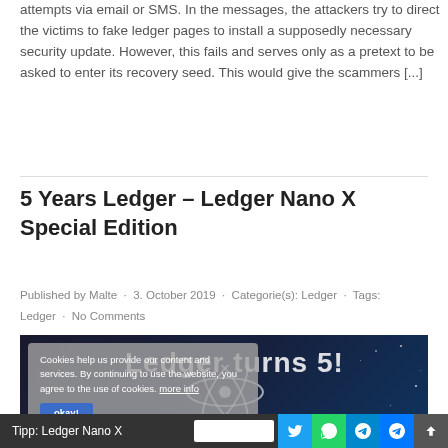attempts via email or SMS. In the messages, the attackers try to direct the victims to fake ledger pages to install a supposedly necessary security update. However, this fails and serves only as a pretext to be asked to enter its recovery seed. This would give the scammers [...]
5 Years Ledger – Ledger Nano X Special Edition
Published by Malte · 3. October 2019 · Categorie(s): Ledger · Tags: Ledger · No Comments
[Figure (screenshot): Screenshot of a webpage showing 'Ledger turns 5!' promotional image with dark background, atom icon, years 2014 and 2019 on a blue banner, overlaid with a cookie consent dialog. Bottom shows a share bar with Tipp: Ledger Nano X and social media icons.]